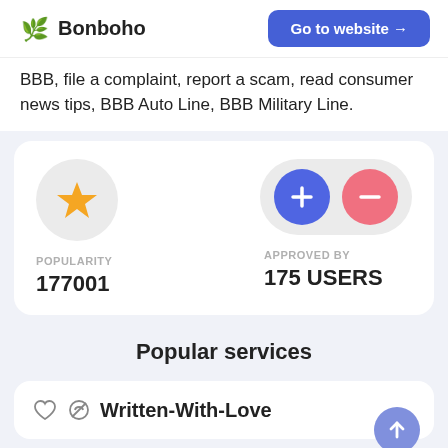Bonboho — Go to website →
BBB, file a complaint, report a scam, read consumer news tips, BBB Auto Line, BBB Military Line.
POPULARITY 177001
APPROVED BY 175 USERS
Popular services
Written-With-Love